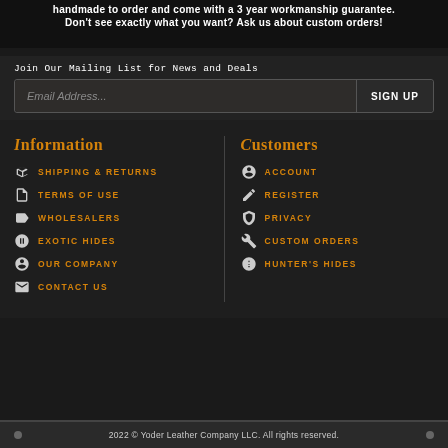handmade to order and come with a 3 year workmanship guarantee.
Don't see exactly what you want? Ask us about custom orders!
Join Our Mailing List for News and Deals
Email Address...
SIGN UP
Information
SHIPPING & RETURNS
TERMS OF USE
WHOLESALERS
EXOTIC HIDES
OUR COMPANY
CONTACT US
Customers
ACCOUNT
REGISTER
PRIVACY
CUSTOM ORDERS
HUNTER'S HIDES
2022 © Yoder Leather Company LLC. All rights reserved.